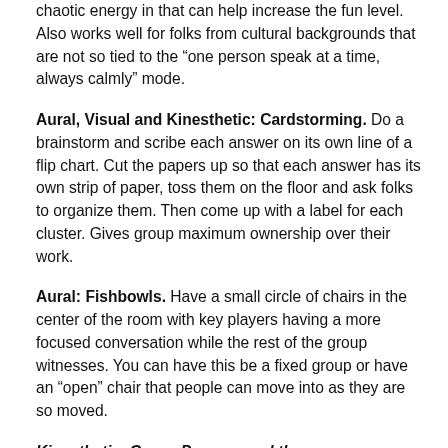chaotic energy in that can help increase the fun level. Also works well for folks from cultural backgrounds that are not so tied to the “one person speak at a time, always calmly” mode.
Aural, Visual and Kinesthetic: Cardstorming. Do a brainstorm and scribe each answer on its own line of a flip chart. Cut the papers up so that each answer has its own strip of paper, toss them on the floor and ask folks to organize them. Then come up with a label for each cluster. Gives group maximum ownership over their work.
Aural: Fishbowls. Have a small circle of chairs in the center of the room with key players having a more focused conversation while the rest of the group witnesses. You can have this be a fixed group or have an “open” chair that people can move into as they are so moved.
Kinesthetic: Group Process and the…